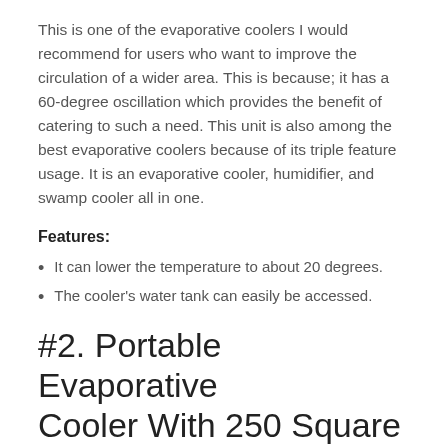This is one of the evaporative coolers I would recommend for users who want to improve the circulation of a wider area. This is because; it has a 60-degree oscillation which provides the benefit of catering to such a need. This unit is also among the best evaporative coolers because of its triple feature usage. It is an evaporative cooler, humidifier, and swamp cooler all in one.
Features:
It can lower the temperature to about 20 degrees.
The cooler's water tank can easily be accessed.
#2. Portable Evaporative Cooler With 250 Square Foot